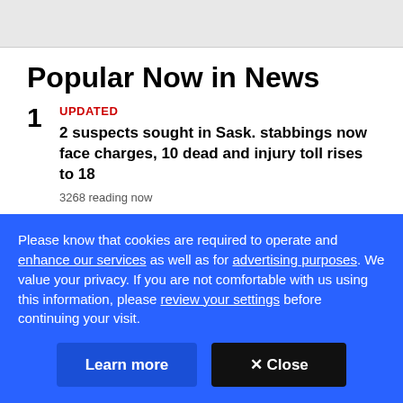Popular Now in News
1 UPDATED
2 suspects sought in Sask. stabbings now face charges, 10 dead and injury toll rises to 18
3268 reading now
Please know that cookies are required to operate and enhance our services as well as for advertising purposes. We value your privacy. If you are not comfortable with us using this information, please review your settings before continuing your visit.